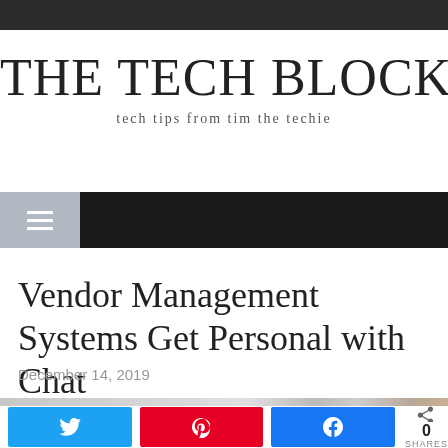THE TECH BLOCK
tech tips from tim the techie
[Figure (screenshot): Navigation bar with hamburger menu icon on grey background and dark black bar]
Vendor Management Systems Get Personal with Chat
December 14, 2019
[Figure (photo): Partial article header image, cropped at bottom]
[Figure (infographic): Social sharing buttons: Twitter (blue), Pinterest (red), Facebook (blue), share count showing 0 SHARES]